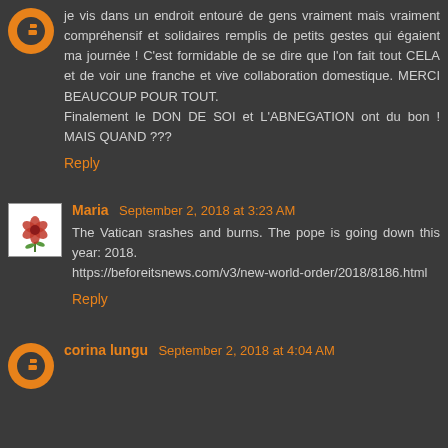je vis dans un endroit entouré de gens vraiment mais vraiment compréhensif et solidaires remplis de petits gestes qui égaient ma journée ! C'est formidable de se dire que l'on fait tout CELA et de voir une franche et vive collaboration domestique. MERCI BEAUCOUP POUR TOUT.
Finalement le DON DE SOI et L'ABNEGATION ont du bon ! MAIS QUAND ???
Reply
Maria  September 2, 2018 at 3:23 AM
The Vatican srashes and burns. The pope is going down this year: 2018.
https://beforeitsnews.com/v3/new-world-order/2018/8186.html
Reply
corina lungu  September 2, 2018 at 4:04 AM